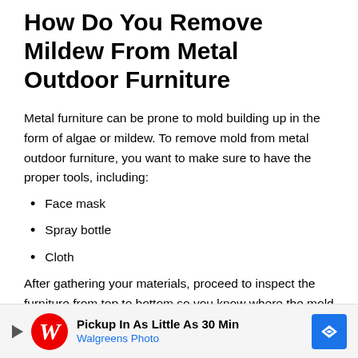How Do You Remove Mildew From Metal Outdoor Furniture
Metal furniture can be prone to mold building up in the form of algae or mildew. To remove mold from metal outdoor furniture, you want to make sure to have the proper tools, including:
Face mask
Spray bottle
Cloth
After gathering your materials, proceed to inspect the furniture from top to bottom so you know where the mold is located. Any untreated mold will continue to spread, so be sure to look under the furniture and in every hidden nook
[Figure (screenshot): Walgreens Photo advertisement banner: Pickup In As Little As 30 Min]